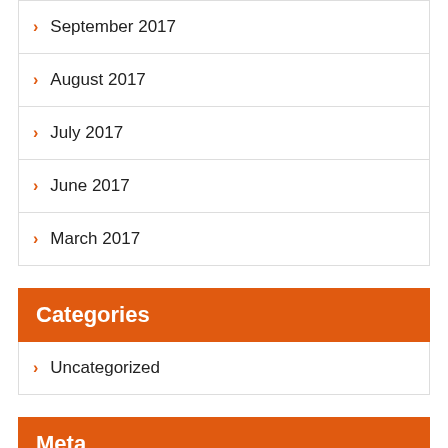September 2017
August 2017
July 2017
June 2017
March 2017
Categories
Uncategorized
Meta
Log in